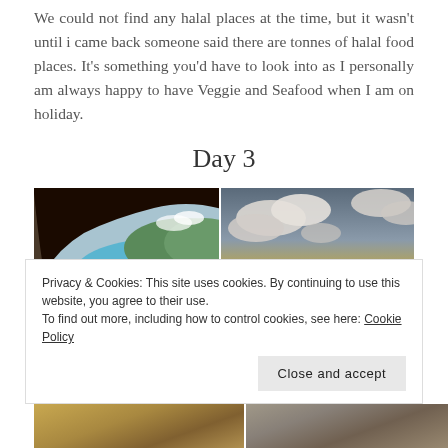We could not find any halal places at the time, but it wasn't until i came back someone said there are tonnes of halal food places. It's something you'd have to look into as I personally am always happy to have Veggie and Seafood when I am on holiday.
Day 3
[Figure (photo): View through a cave opening looking out to a coastal bay with turquoise water, green hills, and a figure standing in the foreground]
[Figure (photo): Sunset over a flat landscape with dramatic clouds and golden/orange sky]
Privacy & Cookies: This site uses cookies. By continuing to use this website, you agree to their use.
To find out more, including how to control cookies, see here: Cookie Policy
Close and accept
[Figure (photo): Partial view of a landscape photo at the bottom of the page (left)]
[Figure (photo): Partial view of a landscape photo at the bottom of the page (right)]